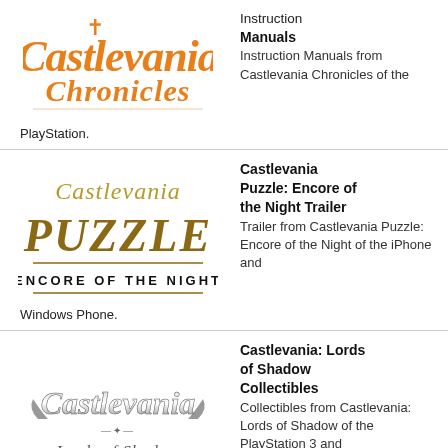[Figure (logo): Castlevania Chronicles logo in orange gothic lettering]
Instruction Manuals
Instruction Manuals from Castlevania Chronicles of the PlayStation.
[Figure (logo): Castlevania Puzzle: Encore of the Night logo in gold gothic lettering]
Castlevania Puzzle: Encore of the Night Trailer
Trailer from Castlevania Puzzle: Encore of the Night of the iPhone and Windows Phone.
[Figure (logo): Castlevania: Lords of Shadow logo in silver gothic lettering]
Castlevania: Lords of Shadow Collectibles
Collectibles from Castlevania: Lords of Shadow of the PlayStation 3 and Xbox 360.
[Figure (logo): Castlevania: Aria partial logo visible at bottom]
Castlevania: Aria